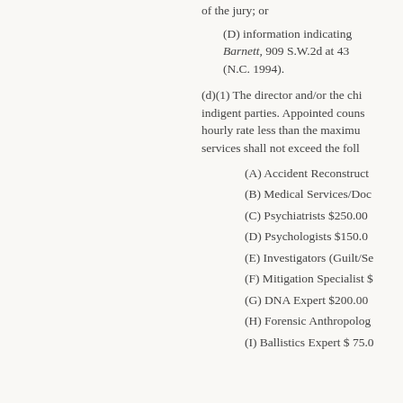of the jury; or
(D) information indicating... Barnett, 909 S.W.2d at 43... (N.C. 1994).
(d)(1) The director and/or the chi... indigent parties. Appointed couns... hourly rate less than the maximu... services shall not exceed the foll...
(A) Accident Reconstruct...
(B) Medical Services/Doc...
(C) Psychiatrists $250.00...
(D) Psychologists $150.0...
(E) Investigators (Guilt/Se...
(F) Mitigation Specialist $...
(G) DNA Expert $200.00...
(H) Forensic Anthropolog...
(I) Ballistics Expert $ 75.0...